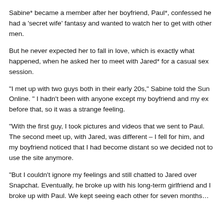Sabine* became a member after her boyfriend, Paul*, confessed he had a 'secret wife' fantasy and wanted to watch her to get with other men.
But he never expected her to fall in love, which is exactly what happened, when he asked her to meet with Jared* for a casual sex session.
"I met up with two guys both in their early 20s," Sabine told the Sun Online. " I hadn't been with anyone except my boyfriend and my ex before that, so it was a strange feeling.
"With the first guy, I took pictures and videos that we sent to Paul. The second meet up, with Jared, was different – I fell for him, and my boyfriend noticed that I had become distant so we decided not to use the site anymore.
"But I couldn't ignore my feelings and still chatted to Jared over Snapchat. Eventually, he broke up with his long-term girlfriend and I broke up with Paul. We kept seeing each other for seven months…